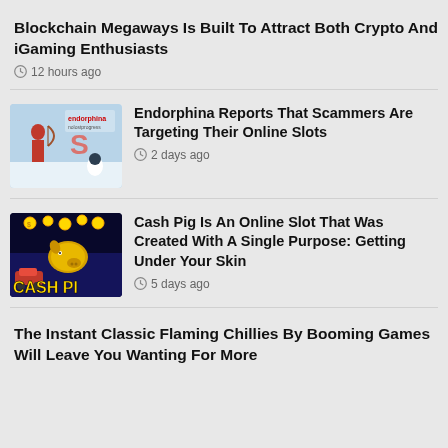Blockchain Megaways Is Built To Attract Both Crypto And iGaming Enthusiasts
12 hours ago
[Figure (screenshot): Endorphina game thumbnail with archer and logo]
Endorphina Reports That Scammers Are Targeting Their Online Slots
2 days ago
[Figure (screenshot): Cash Pig slot game thumbnail with golden pig and text CASH PIG]
Cash Pig Is An Online Slot That Was Created With A Single Purpose: Getting Under Your Skin
5 days ago
The Instant Classic Flaming Chillies By Booming Games Will Leave You Wanting For More